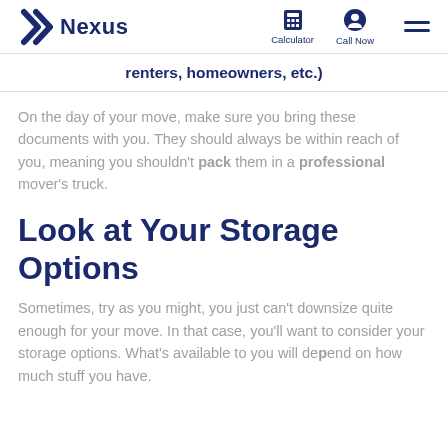Nexus | Calculator | Call Now
renters, homeowners, etc.)
On the day of your move, make sure you bring these documents with you. They should always be within reach of you, meaning you shouldn't pack them in a professional mover's truck.
Look at Your Storage Options
Sometimes, try as you might, you just can't downsize quite enough for your move. In that case, you'll want to consider your storage options. What's available to you will depend on how much stuff you have.